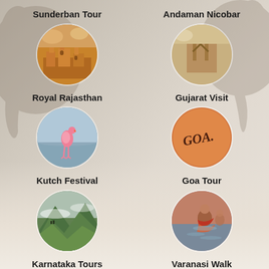Sunderban Tour
[Figure (photo): Circular photo showing Rajasthan fort/palace architecture in warm orange/brown tones]
Andaman Nicobar
[Figure (photo): Circular photo showing wooden structure at Andaman, warm beige tones]
Royal Rajasthan
[Figure (photo): Circular photo showing flamingo standing in water with blue-grey tones]
Gujarat Visit
[Figure (photo): Circular photo showing orange circle with GOA written in script]
Kutch Festival
[Figure (photo): Circular photo showing green hills/mountains with clouds]
Goa Tour
[Figure (photo): Circular photo showing person in water, Varanasi ghat scene]
Karnataka Tours
[Figure (photo): Circular photo showing green mountain landscape, partially shown]
Varanasi Walk
[Figure (photo): Circular photo showing colorful temple architecture, partially shown]